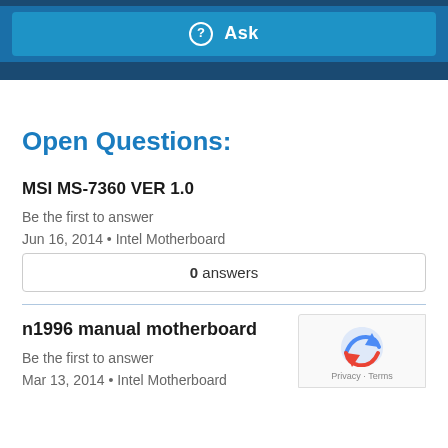Ask
Open Questions:
MSI MS-7360 VER 1.0
Be the first to answer
Jun 16, 2014 • Intel Motherboard
0 answers
n1996 manual motherboard
Be the first to answer
Mar 13, 2014 • Intel Motherboard